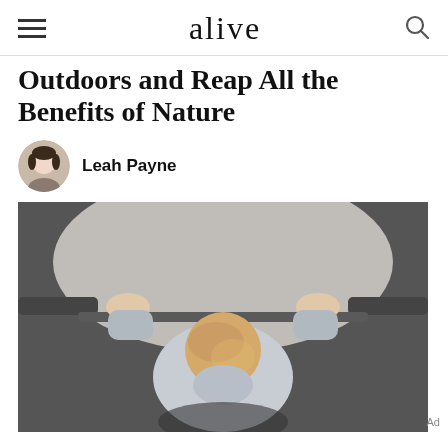alive
Outdoors and Reap All the Benefits of Nature
Leah Payne
[Figure (photo): Bird's-eye view of a toddler in a grey hoodie doing a pull-up on a dark bar, hands gripping a metal rail with a concrete/grey background above. Viewed from directly overhead.]